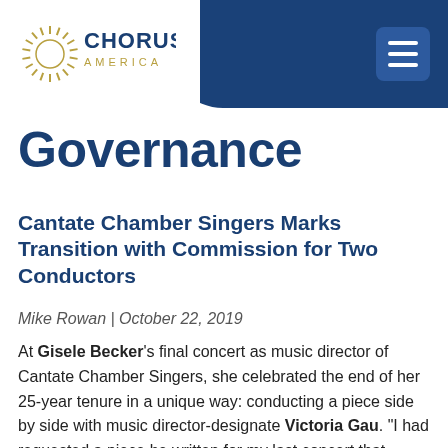Chorus America
Governance
Cantate Chamber Singers Marks Transition with Commission for Two Conductors
Mike Rowan | October 22, 2019
At Gisele Becker's final concert as music director of Cantate Chamber Singers, she celebrated the end of her 25-year tenure in a unique way: conducting a piece side by side with music director-designate Victoria Gau. "I had requested a piece be written for my last concert that would be in part for two